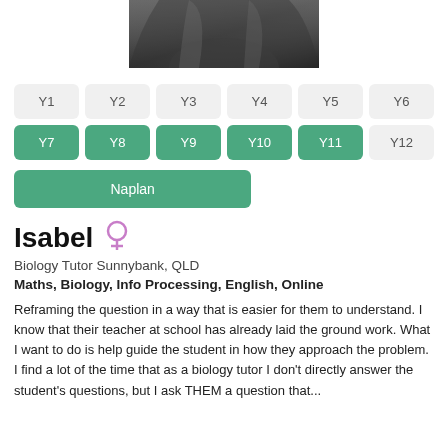[Figure (photo): Partial photo of Isabel, showing hair and top of head, cropped at bottom of photo area]
Y1 Y2 Y3 Y4 Y5 Y6 (inactive year level buttons)
Y7 Y8 Y9 Y10 Y11 (active/green year level buttons), Y12 (inactive)
Naplan (active/green button)
Isabel
Biology Tutor Sunnybank, QLD
Maths, Biology, Info Processing, English, Online
Reframing the question in a way that is easier for them to understand. I know that their teacher at school has already laid the ground work. What I want to do is help guide the student in how they approach the problem. I find a lot of the time that as a biology tutor I don't directly answer the student's questions, but I ask THEM a question that...